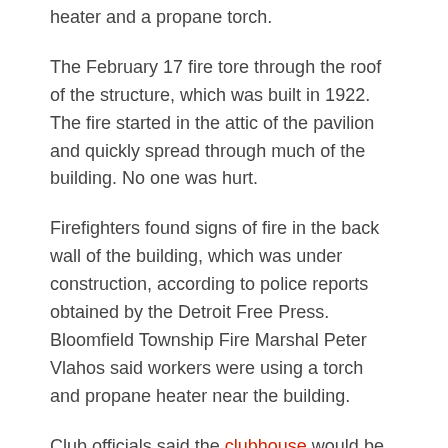heater and a propane torch.
The February 17 fire tore through the roof of the structure, which was built in 1922. The fire started in the attic of the pavilion and quickly spread through much of the building. No one was hurt.
Firefighters found signs of fire in the back wall of the building, which was under construction, according to police reports obtained by the Detroit Free Press. Bloomfield Township Fire Marshal Peter Vlahos said workers were using a torch and propane heater near the building.
Club officials said the clubhouse would be rebuilt.
Oakland Hills opened in 1916 and has hosted six US Opens. Ben Hogan won it in 1951.
Jack Nicklaus and Arnold Palmer won the US Senior Open in Oakland Hills. Gary Player won the 1972 PGA Championship. Europe won the Ryder Cup there in 2004 and Padraig Harrington became the first Irishman to win the PGA Championship in 2008.